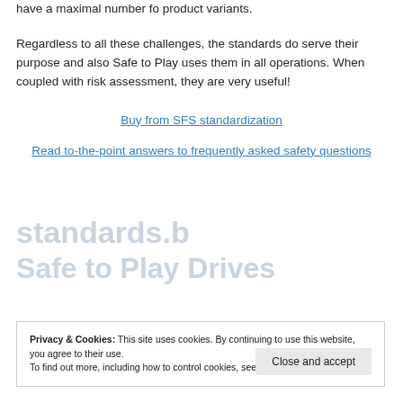have a maximal number fo product variants.
Regardless to all these challenges, the standards do serve their purpose and also Safe to Play uses them in all operations. When coupled with risk assessment, they are very useful!
Buy from SFS standardization
Read to-the-point answers to frequently asked safety questions
Privacy & Cookies: This site uses cookies. By continuing to use this website, you agree to their use.
To find out more, including how to control cookies, see here: Cookie Policy
Close and accept
All of Safe to Play's services and products deal with the